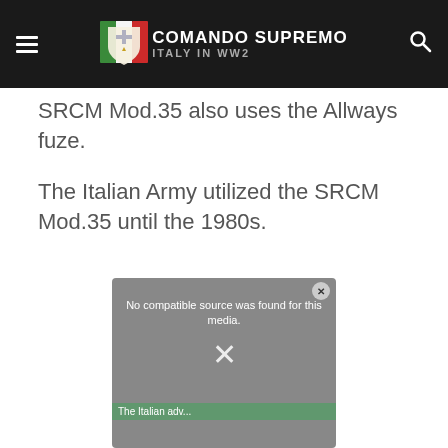Comando Supremo — Italy in WW2
SRCM Mod.35 also uses the Allways fuze.
The Italian Army utilized the SRCM Mod.35 until the 1980s.
[Figure (screenshot): Video player placeholder showing 'No compatible source was found for this media.' with a close button (x) and partial caption 'The Italian adv...' at the bottom.]